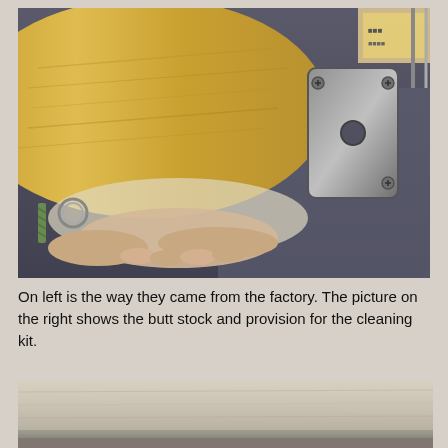[Figure (photo): Close-up photograph of a wooden gun butt stock being held, showing a metal end plate with screws and a ring hook attachment on a dark carpet background, with packaging visible in the upper right.]
On left is the way they came from the factory.  The picture on the right shows the butt stock and provision for the cleaning kit.
[Figure (photo): Partial photograph showing the bottom portion of what appears to be a rifle or firearm stock laid on a surface, showing light-colored wood or metal surface.]